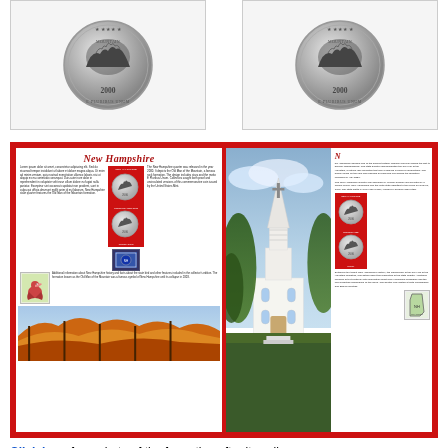[Figure (photo): Two New Hampshire state quarter coins (year 2000, E PLURIBUS UNUM) shown side by side in light gray bordered cards]
[Figure (photo): Red-bordered display showing two panels: left panel is a New Hampshire commemorative collector page with script title 'New Hampshire', coin images, stamp, bird illustration and autumn foliage photo; right panel shows a white church steeple against sky with trees, and a second collector page with coin images and text columns]
Click here for a photo of the formation after its collapse.